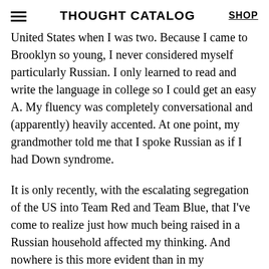THOUGHT CATALOG | SHOP
United States when I was two. Because I came to Brooklyn so young, I never considered myself particularly Russian. I only learned to read and write the language in college so I could get an easy A. My fluency was completely conversational and (apparently) heavily accented. At one point, my grandmother told me that I spoke Russian as if I had Down syndrome.
It is only recently, with the escalating segregation of the US into Team Red and Team Blue, that I've come to realize just how much being raised in a Russian household affected my thinking. And nowhere is this more evident than in my perspective on the police—or rather, my awareness of the American perspective on the police.